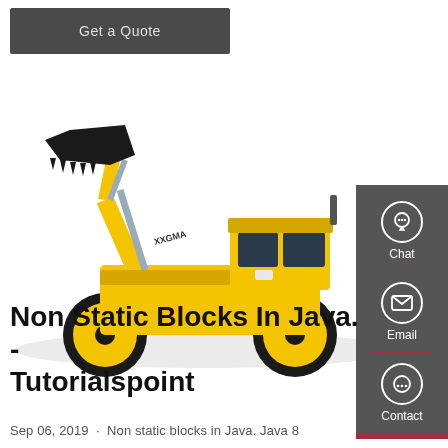[Figure (other): Dark gray 'Get a Quote' button]
[Figure (photo): Yellow XGMA wheel loader / front-end loader on white background]
[Figure (infographic): Dark gray sidebar with Chat, Email, and Contact icons with red dividers]
Non Static Blocks In Java. - Tutorialspoint
Sep 06, 2019 · Non static blocks in Java. Java 8